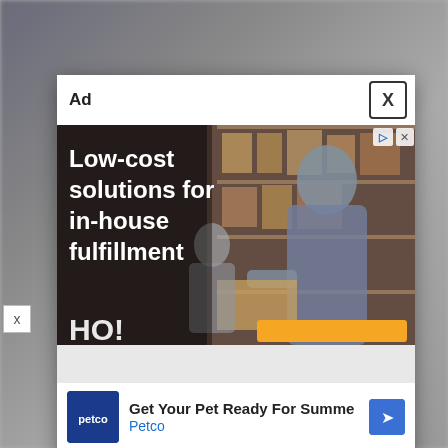[Figure (screenshot): Modal ad popup overlay on a blurred webpage background. The modal has an 'Ad' label and close (X) button at top. Main ad image shows a warehouse scene with a woman packing boxes and large white bold text reading 'Low-cost solutions for in-house fulfillment'. Below is a partially visible bottom strip. Below the modal is a secondary Petco ad with logo, headline 'Get Your Pet Ready For Summe', subtext 'Petco', and an arrow icon. AdChoices icons and a small x button are also visible.]
Ad
Low-cost solutions for in-house fulfillment
Get Your Pet Ready For Summe
Petco